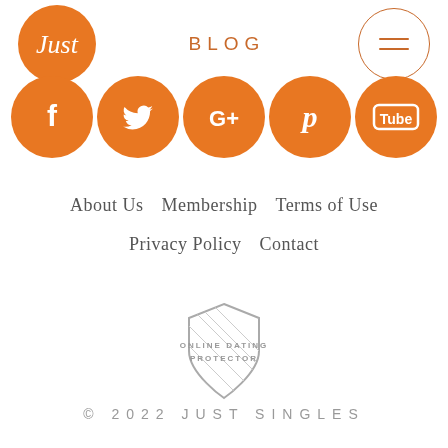[Figure (logo): Just Singles logo — orange circle with script 'Just' text]
BLOG
[Figure (illustration): Hamburger menu icon inside a circular orange border]
[Figure (illustration): Row of five orange social media icons: Facebook, Twitter, Google+, Pinterest, YouTube]
About Us  Membership  Terms of Use
Privacy Policy  Contact
[Figure (logo): Online Dating Protector shield badge with hatched lines and text 'ONLINE DATING PROTECTOR']
© 2022 JUST SINGLES